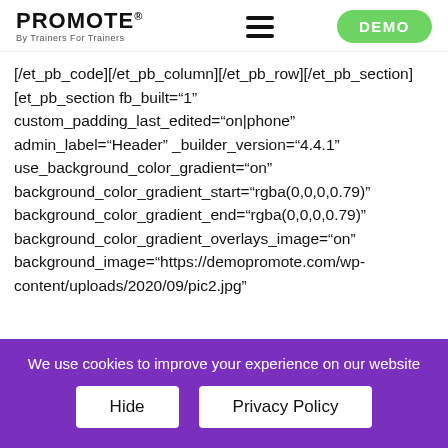PROMOTE® By Trainers For Trainers — DEMO
[/et_pb_code][/et_pb_column][/et_pb_row][/et_pb_section][et_pb_section fb_built="1" custom_padding_last_edited="on|phone" admin_label="Header" _builder_version="4.4.1" use_background_color_gradient="on" background_color_gradient_start="rgba(0,0,0,0.79)" background_color_gradient_end="rgba(0,0,0,0.79)" background_color_gradient_overlays_image="on" background_image="https://demopromote.com/wp-content/uploads/2020/09/pic2.jpg"
We use cookies to improve your experience on our website
Hide
Privacy Policy